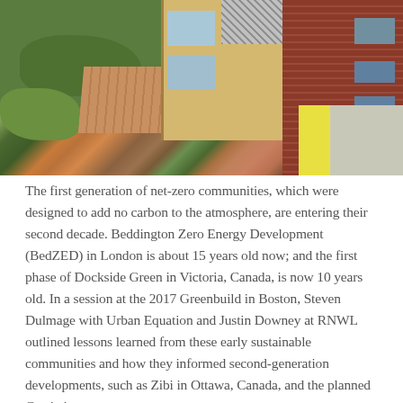[Figure (photo): Aerial view of a net-zero community development showing green gardens, wooden decking, modern timber-framed buildings with large windows, and adjacent brick buildings along a street.]
The first generation of net-zero communities, which were designed to add no carbon to the atmosphere, are entering their second decade. Beddington Zero Energy Development (BedZED) in London is about 15 years old now; and the first phase of Dockside Green in Victoria, Canada, is now 10 years old. In a session at the 2017 Greenbuild in Boston, Steven Dulmage with Urban Equation and Justin Downey at RNWL outlined lessons learned from these early sustainable communities and how they informed second-generation developments, such as Zibi in Ottawa, Canada, and the planned Currie i